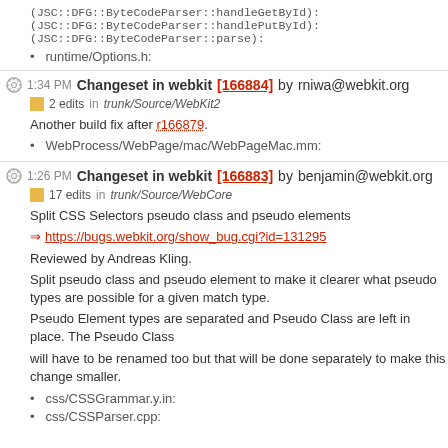(JSC::DFG::ByteCodeParser::handleGetById):
(JSC::DFG::ByteCodeParser::handlePutById):
(JSC::DFG::ByteCodeParser::parse):
runtime/Options.h:
1:34 PM Changeset in webkit [166884] by rniwa@webkit.org
2 edits in trunk/Source/WebKit2
Another build fix after r166879.
WebProcess/WebPage/mac/WebPageMac.mm:
1:26 PM Changeset in webkit [166883] by benjamin@webkit.org
17 edits in trunk/Source/WebCore
Split CSS Selectors pseudo class and pseudo elements
https://bugs.webkit.org/show_bug.cgi?id=131295
Reviewed by Andreas Kling.
Split pseudo class and pseudo element to make it clearer what pseudo types are possible for a given match type.
Pseudo Element types are separated and Pseudo Class are left in place. The Pseudo Class
will have to be renamed too but that will be done separately to make this change smaller.
css/CSSGrammar.y.in:
css/CSSParser.cpp: